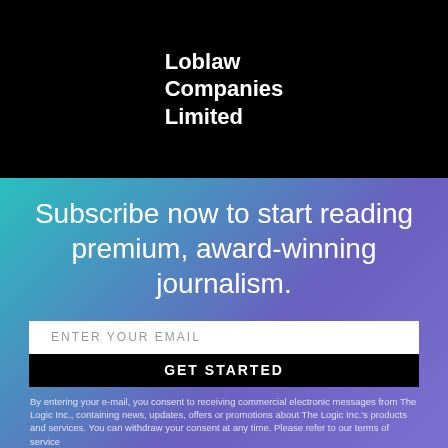[Figure (logo): Loblaw Companies Limited logo in white bold text on black background]
Subscribe now to start reading premium, award-winning journalism.
ENTER YOUR EMAIL
GET STARTED
By entering your e-mail, you consent to receiving commercial electronic messages from The Logic Inc., containing news, updates, offers or promotions about The Logic Inc.'s products and services. You can withdraw your consent at any time. Please refer to our terms of service